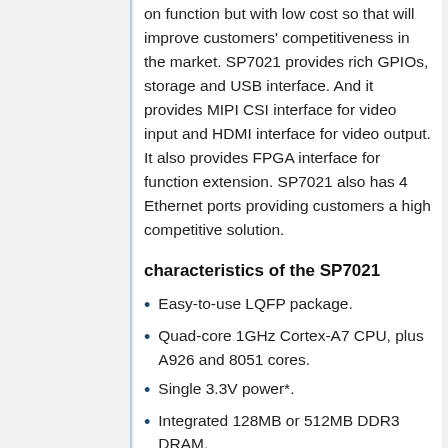on function but with low cost so that will improve customers' competitiveness in the market. SP7021 provides rich GPIOs, storage and USB interface. And it provides MIPI CSI interface for video input and HDMI interface for video output. It also provides FPGA interface for function extension. SP7021 also has 4 Ethernet ports providing customers a high competitive solution.
characteristics of the SP7021
Easy-to-use LQFP package.
Quad-core 1GHz Cortex-A7 CPU, plus A926 and 8051 cores.
Single 3.3V power*.
Integrated 128MB or 512MB DDR3 DRAM.
Eight 8-bit 5V-tolerant IO ports, plus one high-current port.